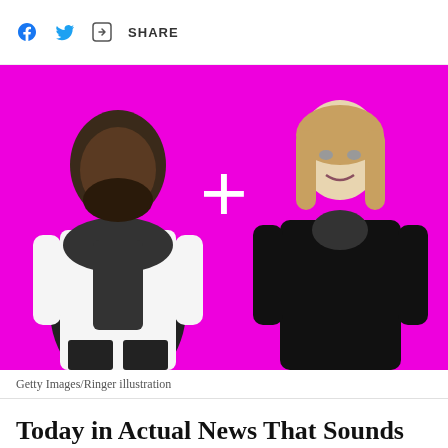SHARE
[Figure (illustration): Two black-and-white figures on a magenta/pink background with a white plus sign between them. Left figure is a heavyset man in a white top with a dark scarf. Right figure is a woman in a dark velvet dress with blonde hair.]
Getty Images/Ringer illustration
Today in Actual News That Sounds Like Ringer